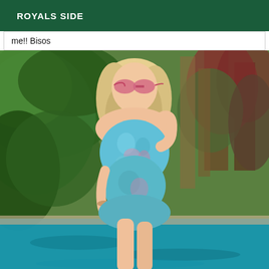ROYALS SIDE
me!! Bisos
[Figure (photo): Woman with blonde hair and pink sunglasses wearing a blue floral swimsuit, posing by a pool with green foliage in the background]